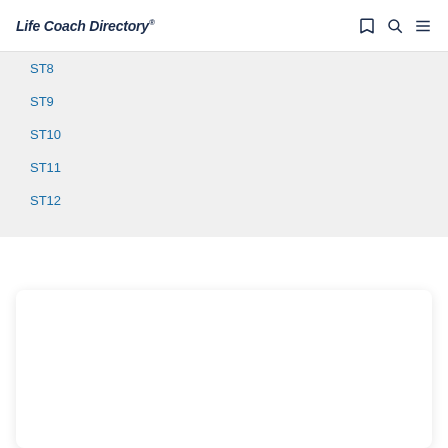Life Coach Directory®
ST8
ST9
ST10
ST11
ST12
[Figure (other): White card panel, empty content area below the list]